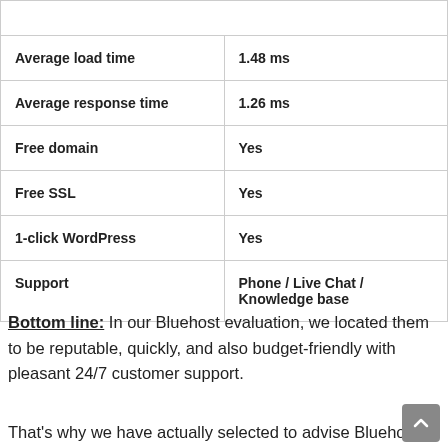| Average load time | 1.48 ms |
| Average response time | 1.26 ms |
| Free domain | Yes |
| Free SSL | Yes |
| 1-click WordPress | Yes |
| Support | Phone / Live Chat / Knowledge base |
Bottom line: In our Bluehost evaluation, we located them to be reputable, quickly, and also budget-friendly with pleasant 24/7 customer support.
That's why we have actually selected to advise Bluehost as